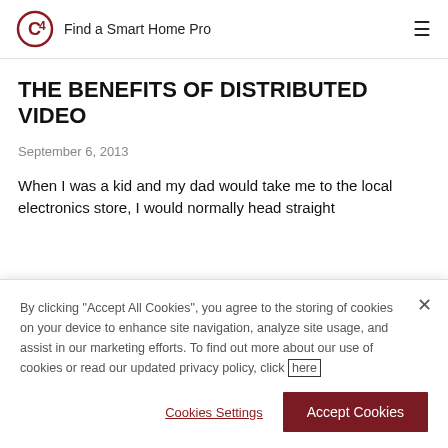Find a Smart Home Pro
THE BENEFITS OF DISTRIBUTED VIDEO
September 6, 2013
When I was a kid and my dad would take me to the local electronics store, I would normally head straight
By clicking "Accept All Cookies", you agree to the storing of cookies on your device to enhance site navigation, analyze site usage, and assist in our marketing efforts. To find out more about our use of cookies or read our updated privacy policy, click here
Cookies Settings
Accept Cookies